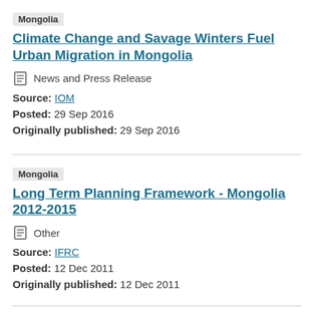Climate Change and Savage Winters Fuel Urban Migration in Mongolia
News and Press Release
Source: IOM
Posted: 29 Sep 2016
Originally published: 29 Sep 2016
Long Term Planning Framework - Mongolia 2012-2015
Other
Source: IFRC
Posted: 12 Dec 2011
Originally published: 12 Dec 2011